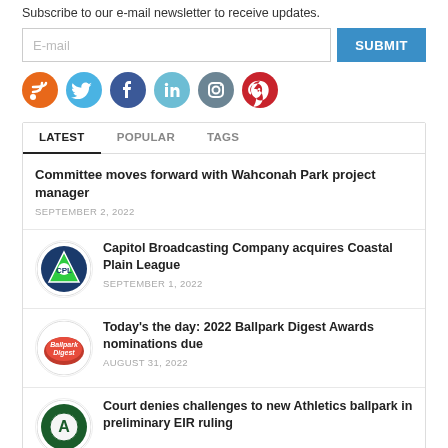Subscribe to our e-mail newsletter to receive updates.
[Figure (screenshot): E-mail input field with SUBMIT button]
[Figure (infographic): Row of social media icons: RSS (orange), Twitter (blue), Facebook (dark blue), LinkedIn (light blue), Instagram (grey-blue), Pinterest (red)]
LATEST | POPULAR | TAGS
Committee moves forward with Wahconah Park project manager
SEPTEMBER 2, 2022
Capitol Broadcasting Company acquires Coastal Plain League
SEPTEMBER 1, 2022
Today's the day: 2022 Ballpark Digest Awards nominations due
AUGUST 31, 2022
Court denies challenges to new Athletics ballpark in preliminary EIR ruling